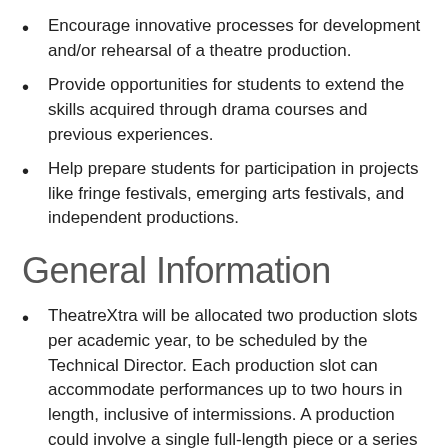Encourage innovative processes for development and/or rehearsal of a theatre production.
Provide opportunities for students to extend the skills acquired through drama courses and previous experiences.
Help prepare students for participation in projects like fringe festivals, emerging arts festivals, and independent productions.
General Information
TheatreXtra will be allocated two production slots per academic year, to be scheduled by the Technical Director. Each production slot can accommodate performances up to two hours in length, inclusive of intermissions. A production could involve a single full-length piece or a series